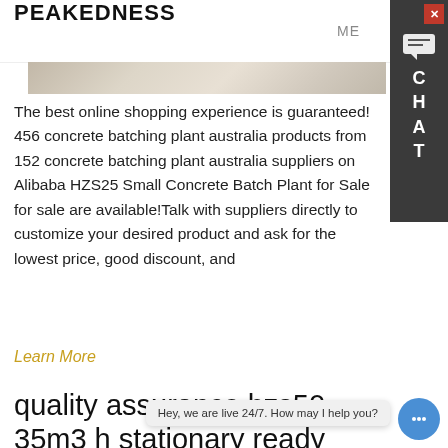PEAKEDNESS
[Figure (photo): Partial view of a construction or concrete plant site, showing a sandy/dusty ground surface with some figures or equipment in background]
The best online shopping experience is guaranteed! 456 concrete batching plant australia products from 152 concrete batching plant australia suppliers on Alibaba HZS25 Small Concrete Batch Plant for Sale for sale are available!Talk with suppliers directly to customize your desired product and ask for the lowest price, good discount, and
Learn More
quality assurance hzs50 35m3 h stationary ready